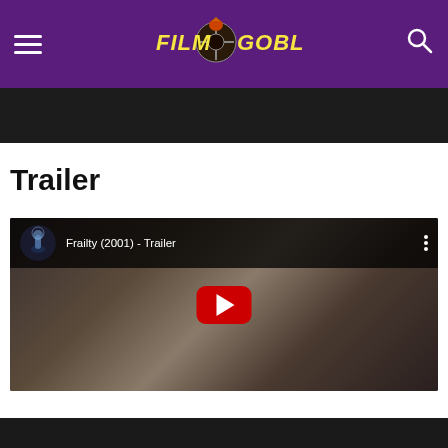FilmGoblin - Navigation header with hamburger menu, logo, and search icon
[Figure (screenshot): Dark top image strip, partial film scene]
Trailer
[Figure (screenshot): YouTube embedded video player showing 'Frailty (2001) - Trailer' with a play button and movie scene thumbnail of a man in a white shirt]
[Figure (screenshot): Partial dark image strip at bottom of page]